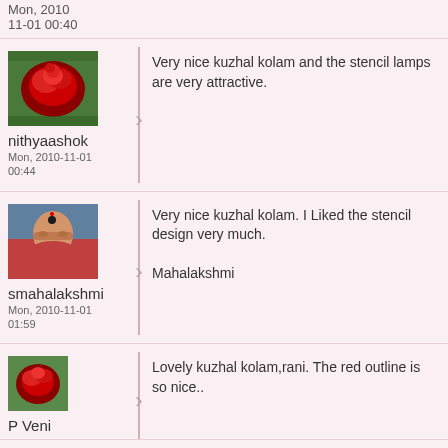Mon, 2010-11-01 00:40
[Figure (photo): Red rose avatar photo for user nithyaashok]
Very nice kuzhal kolam and the stencil lamps are very attractive.
nithyaashok
Mon, 2010-11-01 00:44
[Figure (photo): Woman portrait photo for user smahalakshmi]
Very nice kuzhal kolam. I Liked the stencil design very much.

Mahalakshmi
smahalakshmi
Mon, 2010-11-01 01:59
[Figure (photo): Red rose small avatar photo for user P Veni]
Lovely kuzhal kolam,rani. The red outline is so nice..
P Veni